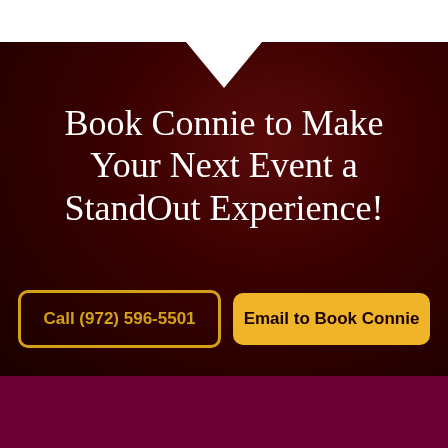Book Connie to Make Your Next Event a StandOut Experience!
Call (972) 596-5501
Email to Book Connie
QUICKLINKS
Personality Shapes